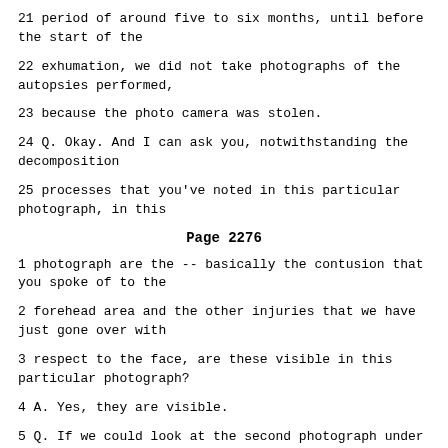21 period of around five to six months, until before the start of the
22 exhumation, we did not take photographs of the autopsies performed,
23 because the photo camera was stolen.
24 Q. Okay. And I can ask you, notwithstanding the decomposition
25 processes that you've noted in this particular photograph, in this
Page 2276
1 photograph are the -- basically the contusion that you spoke of to the
2 forehead area and the other injuries that we have just gone over with
3 respect to the face, are these visible in this particular photograph?
4 A. Yes, they are visible.
5 Q. If we could look at the second photograph under tab 4, and if we
6 could please display P00014.